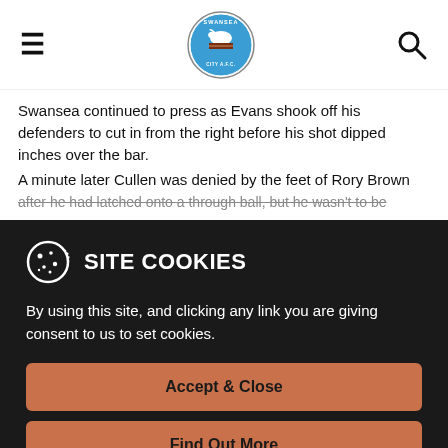Swansea City AFC navigation
Swansea continued to press as Evans shook off his defenders to cut in from the right before his shot dipped inches over the bar.
A minute later Cullen was denied by the feet of Rory Brown after he had latched onto a through ball, but he wasn't to be
SITE COOKIES
By using this site, and clicking any link you are giving consent to us to set cookies.
Accept & Close
Find Out More